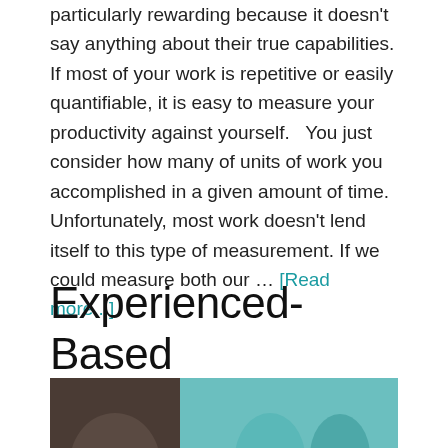particularly rewarding because it doesn't say anything about their true capabilities. If most of your work is repetitive or easily quantifiable, it is easy to measure your productivity against yourself.   You just consider how many of units of work you accomplished in a given amount of time.  Unfortunately, most work doesn't lend itself to this type of measurement. If we could measure both our … [Read more...]
Experienced-Based Education
By Mark Shead — 4 Comments
[Figure (photo): Partial view of two people photographed against contrasting backgrounds — one dark brown, one teal/blue-green]